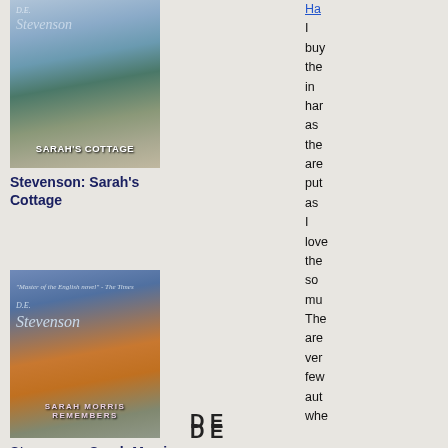[Figure (photo): Book cover of D.E. Stevenson: Sarah's Cottage, showing a mountain landscape with a small cottage and stream]
Stevenson: Sarah's Cottage
[Figure (photo): Book cover of D.E. Stevenson: Sarah Morris Remembers, showing a sunset over rolling hills]
D E
Stevenson: Sarah Morris Remembers
[Figure (photo): Book cover of D.E. Stevenson: Peter, showing a mountain landscape]
D E
Ha... (partially visible link)
I buy the in har as the are put as I love the so mu The are ver few aut whe b...